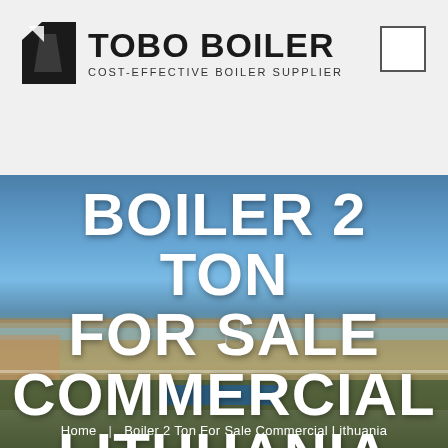TOBO BOILER — COST-EFFECTIVE BOILER SUPPLIER
[Figure (photo): Aerial/ground-level view of a large industrial factory building with blue sky background, text overlay reading BOILER 2 TON FOR SALE COMMERCIAL LITHUANIA]
BOILER 2 TON FOR SALE COMMERCIAL LITHUANIA
Home | Boiler 2 Ton For Sale Commercial Lithuania